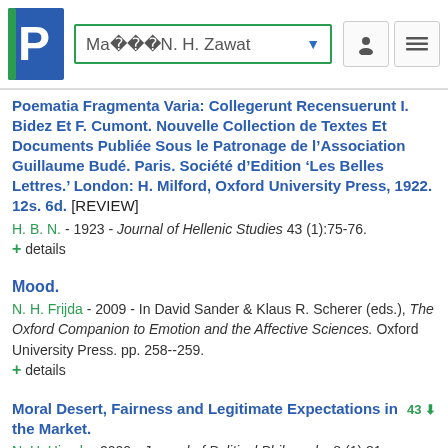Ma���N. H. Zawat
Poematia Fragmenta Varia: Collegerunt Recensuerunt I. Bidez Et F. Cumont. Nouvelle Collection de Textes Et Documents Publiée Sous le Patronage de l’Association Guillaume Budé. Paris. Société d’Edition ‘Les Belles Lettres.’ London: H. Milford, Oxford University Press, 1922. 12s. 6d. [REVIEW]
H. B. N. - 1923 - Journal of Hellenic Studies 43 (1):75-76.
+ details
Mood.
N. H. Frijda - 2009 - In David Sander & Klaus R. Scherer (eds.), The Oxford Companion to Emotion and the Affective Sciences. Oxford University Press. pp. 258--259.
+ details
Moral Desert, Fairness and Legitimate Expectations in the Market.
N. H. Hirsch - 2000 - Journal of Political Philosophy 8 (1):81